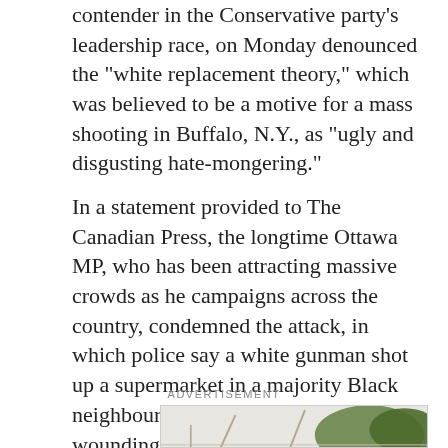contender in the Conservative party's leadership race, on Monday denounced the "white replacement theory," which was believed to be a motive for a mass shooting in Buffalo, N.Y., as "ugly and disgusting hate-mongering."
In a statement provided to The Canadian Press, the longtime Ottawa MP, who has been attracting massive crowds as he campaigns across the country, condemned the attack, in which police say a white gunman shot up a supermarket in a majority Black neighbourhood, killing 10 people and wounding three others.
ADVERTISEMENT
[Figure (photo): Partial view of an outdoor scene with trees visible, appears to be a cropped advertisement image]